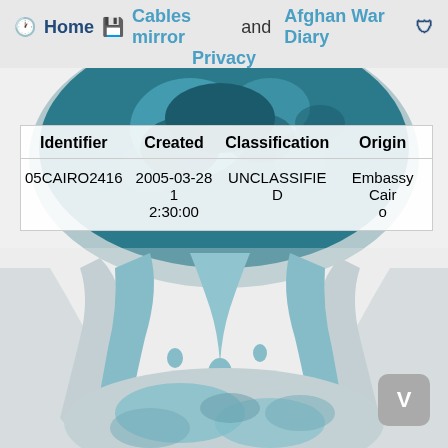🕐 Home 💾 Cables mirror and Afghan War Diary 🛡 Privacy
[Figure (illustration): WikiLeaks hourglass logo with globe imagery in teal and grey colors filling the lower portion of the page]
| Identifier | Created | Classification | Origin |
| --- | --- | --- | --- |
| 05CAIRO2416 | 2005-03-28 12:30:00 | UNCLASSIFIED | Embassy Cairo |